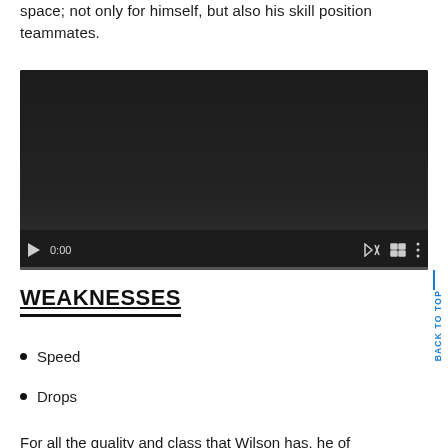space; not only for himself, but also his skill position teammates.
[Figure (screenshot): Embedded video player with dark background, showing playback controls (play button, 0:00 timestamp, mute icon, fullscreen icon, options icon) and a progress bar at the bottom.]
WEAKNESSES
Speed
Drops
For all the quality and class that Wilson has, he of